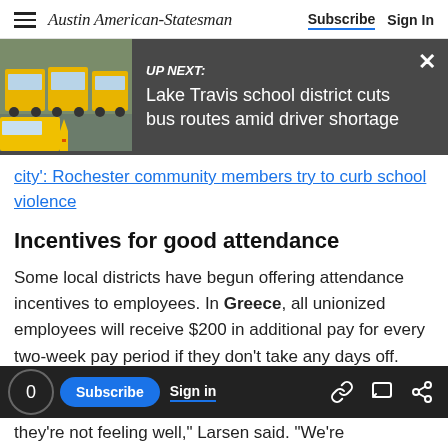Austin American-Statesman | Subscribe | Sign In
[Figure (screenshot): UP NEXT banner with school bus image. Text: 'UP NEXT: Lake Travis school district cuts bus routes amid driver shortage']
city': Rochester community members try to curb school violence
Incentives for good attendance
Some local districts have begun offering attendance incentives to employees. In Greece, all unionized employees will receive $200 in additional pay for every two-week pay period if they don't take any days off.
[Figure (screenshot): Bottom navigation bar with counter '0', Subscribe button, Sign in link, and share icons]
they're not feeling well," Larsen said. "We're